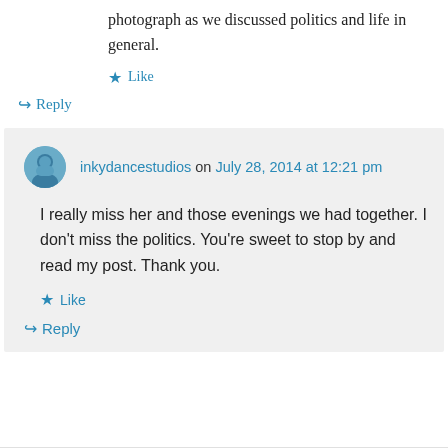photograph as we discussed politics and life in general.
Like
Reply
inkydancestudios on July 28, 2014 at 12:21 pm
I really miss her and those evenings we had together. I don't miss the politics. You're sweet to stop by and read my post. Thank you.
Like
Reply